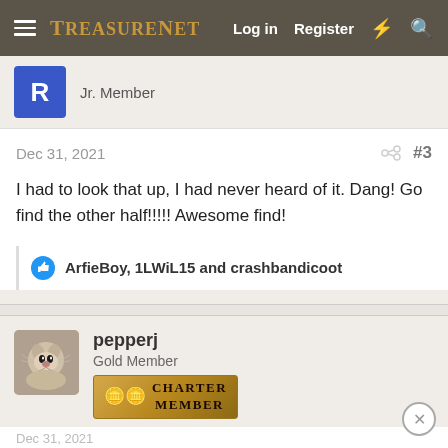TreasureNet  Log in  Register
Jr. Member
Dec 31, 2021  #3
I had to look that up, I had never heard of it. Dang! Go find the other half!!!!! Awesome find!
ArfieBoy, 1LWiL15 and crashbandicoot
pepperj
Gold Member
CHARTER MEMBER